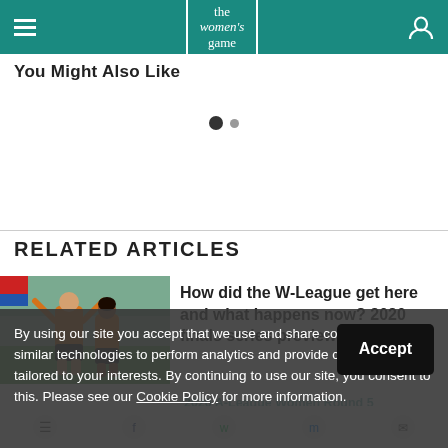the women's game
You Might Also Like
RELATED ARTICLES
[Figure (photo): Two female soccer players in orange jerseys celebrating on a field]
How did the W-League get here and what happens now? 2020 finals series preview
2020 A-League Women Round 5 rescheduled games schedule
By using our site you accept that we use and share cookies and similar technologies to perform analytics and provide content and ads tailored to your interests. By continuing to use our site, you consent to this. Please see our Cookie Policy for more information.